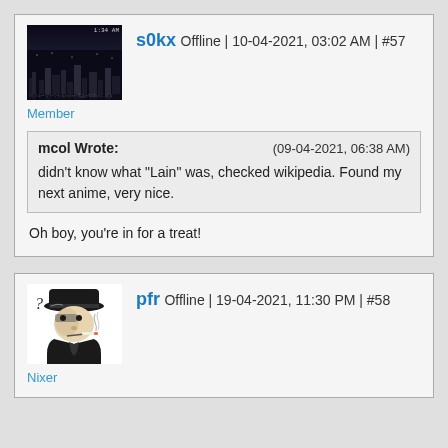s0kx Offline | 10-04-2021, 03:02 AM | #57
Member
mcol Wrote: (09-04-2021, 06:38 AM) didn't know what "Lain" was, checked wikipedia. Found my next anime, very nice.
Oh boy, you're in for a treat!
pfr Offline | 19-04-2021, 11:30 PM | #58
Nixer